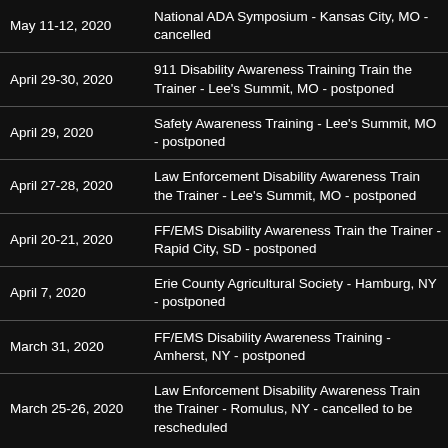| Date | Event |
| --- | --- |
| May 11-12, 2020 | National ADA Symposium - Kansas City, MO - cancelled |
| April 29-30, 2020 | 911 Disability Awareness Training Train the Trainer - Lee's Summit, MO - postponed |
| April 29, 2020 | Safety Awareness Training - Lee's Summit, MO - postponed |
| April 27-28, 2020 | Law Enforcement Disability Awareness Train the Trainer - Lee's Summit, MO - postponed |
| April 20-21, 2020 | FF/EMS Disability Awareness Train the Trainer - Rapid City, SD - postponed |
| April 7, 2020 | Erie County Agricultural Society - Hamburg, NY - postponed |
| March 31, 2020 | FF/EMS Disability Awareness Training - Amherst, NY - postponed |
| March 25-26, 2020 | Law Enforcement Disability Awareness Train the Trainer - Romulus, NY - cancelled to be rescheduled |